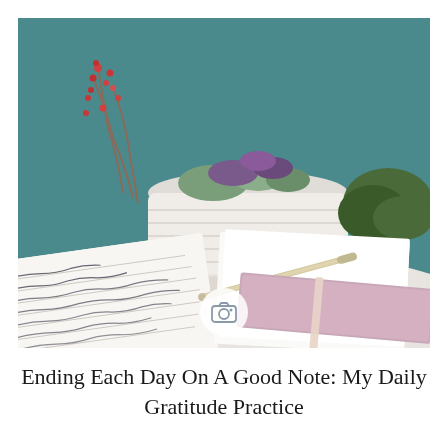[Figure (photo): A flat lay photo showing an open journal with handwritten cursive text, a gold and white pen resting on blank white paper, and a closed pink/mauve notebook with a ribbon bookmark on a white table. In the background, a large white ribbed ceramic pot holds a succulent arrangement with pink and red flowering stems. A green shrub is visible to the right. The background features a teal-blue wall.]
Ending Each Day On A Good Note: My Daily Gratitude Practice